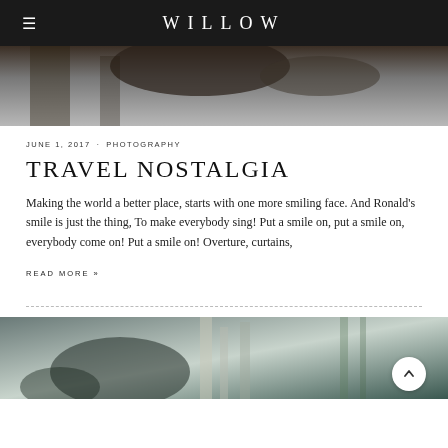WILLOW
[Figure (photo): Dark moody landscape/nature photo, top portion showing dark tones with grey sky]
JUNE 1, 2017 · PHOTOGRAPHY
TRAVEL NOSTALGIA
Making the world a better place, starts with one more smiling face. And Ronald's smile is just the thing, To make everybody sing! Put a smile on, put a smile on, everybody come on! Put a smile on! Overture, curtains,
READ MORE »
[Figure (photo): Second dark nature/forest photo with light tones, trees visible, scroll-to-top button overlaid in bottom right]